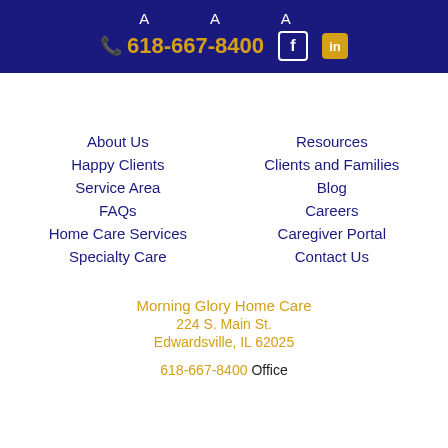A A A  618-667-8400
About Us
Happy Clients
Service Area
FAQs
Home Care Services
Specialty Care
Resources
Clients and Families
Blog
Careers
Caregiver Portal
Contact Us
Morning Glory Home Care
224 S. Main St.
Edwardsville, IL 62025
618-667-8400 Office